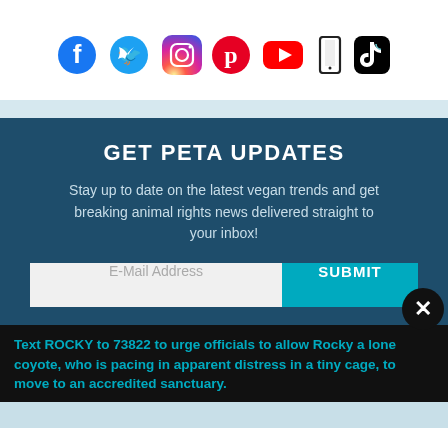[Figure (illustration): Row of social media icons: Facebook, Twitter, Instagram, Pinterest, YouTube, phone/tablet device icon, TikTok]
GET PETA UPDATES
Stay up to date on the latest vegan trends and get breaking animal rights news delivered straight to your inbox!
[Figure (screenshot): Email input field with placeholder 'E-Mail Address' and teal SUBMIT button]
Text ROCKY to 73822 to urge officials to allow Rocky a lone coyote, who is pacing in apparent distress in a tiny cage, to move to an accredited sanctuary.